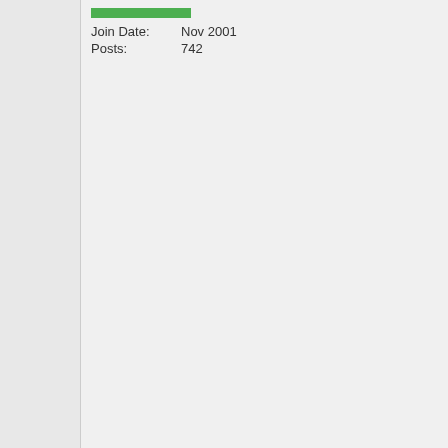Join Date: Nov 2001
Posts: 742
Originally posted here by ...
Well i became a part of F@H and well it was w... night and until now it s... caused and error in the... PMXGR.dll im pretty su... wanted to know if there... way to fix this?

>could someone help m...
>Thanks
It does not ring a bell..
A few questions:
What OS do you use ?
What version of F@H do...
Do you use console or g... f@h client ?
If graphical client (scrnsa... kind of graphic card do y...
Does it start now or is it ...
Aprox how long time was... run before it stopped ?
I searched some sources and d... about PMXGR.dll. I will see if I ... One place were you can post y...